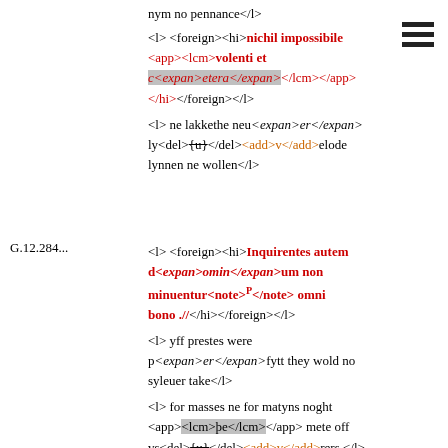nym no pennance</l>
<l> <foreign><hi>nichil impossibile <app><lcm>volenti et c<expan>etera</expan></lcm></app></hi></foreign></l>
<l> ne lakkethe neu<expan>er</expan>ly<del>{u}</del><add>v</add>elode lynnen ne wollen</l>
G.12.284...
<l> <foreign><hi>Inquirentes autem d<expan>omin</expan>um non minuentur<note>P</note> omni bono .//</hi></foreign></l>
<l> yff prestes were p<expan>er</expan>fytt they wold no syleuer take</l>
<l> for masses ne for matyns noght <app><lcm>pe</lcm></app> mete off vs<del>{u}</del><add>v</add>rers </l>